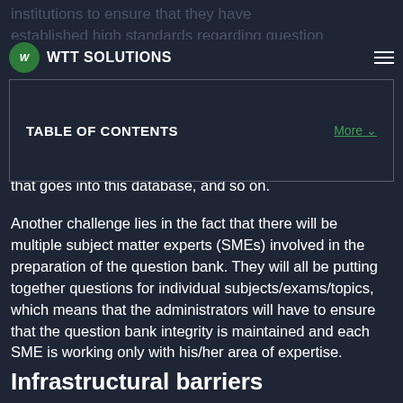WTT SOLUTIONS
institutions to ensure that they have established high standards regarding question bank management — who is responsible for it
| TABLE OF CONTENTS | More |
| --- | --- |
that goes into this database, and so on.
Another challenge lies in the fact that there will be multiple subject matter experts (SMEs) involved in the preparation of the question bank. They will all be putting together questions for individual subjects/exams/topics, which means that the administrators will have to ensure that the question bank integrity is maintained and each SME is working only with his/her area of expertise.
Infrastructural barriers